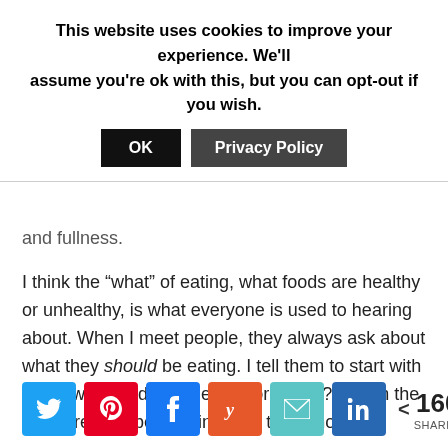This website uses cookies to improve your experience. We'll assume you're ok with this, but you can opt-out if you wish.
OK | Privacy Policy
and fullness.
I think the “what” of eating, what foods are healthy or unhealthy, is what everyone is used to hearing about. When I meet people, they always ask about what they should be eating. I tell them to start with the how instead. Do they sit for meals? Eat on the run? Are they being mindful of their choices?
Two recent studies show us, once again, that how we eat IS just as important as what we eat.
< 160 SHARES